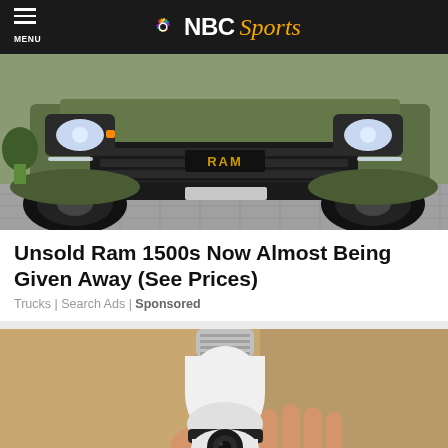MENU | NBC Sports
[Figure (photo): Front view of an olive green RAM 1500 truck parked on a tiled surface]
Unsold Ram 1500s Now Almost Being Given Away (See Prices)
Trucks | Search Ads | Sponsored
[Figure (photo): A hand holding a white smart light bulb security camera device]